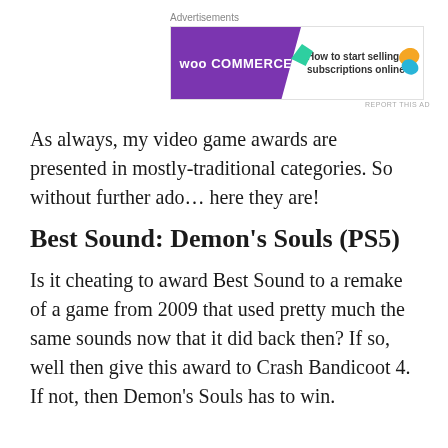[Figure (other): WooCommerce advertisement banner: purple left side with 'woo COMMERCE' logo and teal arrow shape, white right side with text 'How to start selling subscriptions online', orange and blue decorative shapes in corners. 'REPORT THIS AD' label below.]
As always, my video game awards are presented in mostly-traditional categories. So without further ado… here they are!
Best Sound: Demon's Souls (PS5)
Is it cheating to award Best Sound to a remake of a game from 2009 that used pretty much the same sounds now that it did back then? If so, well then give this award to Crash Bandicoot 4. If not, then Demon's Souls has to win.